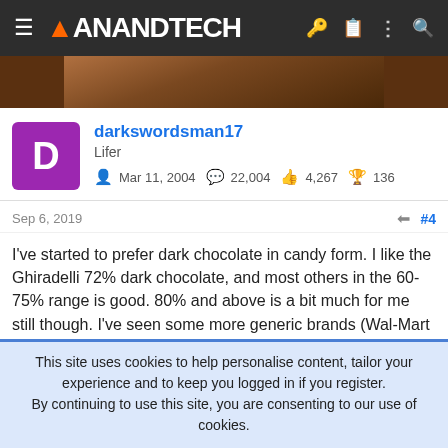AnandTech
[Figure (photo): Partial image of dark brown wooden or chocolate surface visible at top of page]
darkswordsman17
Lifer
Mar 11, 2004  22,004  4,267  136
Sep 6, 2019  #4
I've started to prefer dark chocolate in candy form. I like the Ghiradelli 72% dark chocolate, and most others in the 60-75% range is good. 80% and above is a bit much for me still though. I've seen some more generic brands (Wal-Mart and I think 99 Cents stores) that are ok, and cheaper (not drastically so, but like $2 instead of $2.50).
This site uses cookies to help personalise content, tailor your experience and to keep you logged in if you register.
By continuing to use this site, you are consenting to our use of cookies.